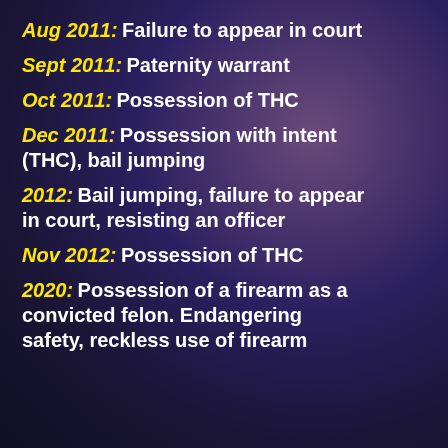Aug 2011: Failure to appear in court
Sept 2011: Paternity warrant
Oct 2011: Possession of THC
Dec 2011: Possession with intent (THC), bail jumping
2012: Bail jumping, failure to appear in court, resisting an officer
Nov 2012: Possession of THC
2020: Possession of a firearm as a convicted felon. Endangering safety, reckless use of firearm